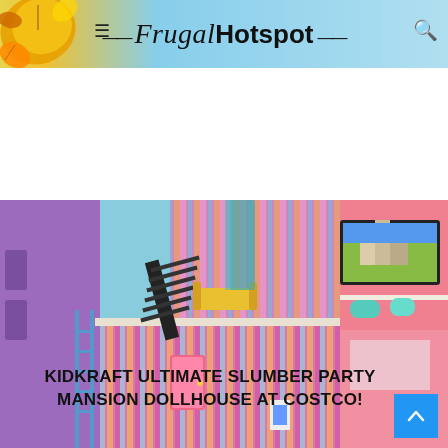Frugal Hotspot
[Figure (photo): Interior photo of a KidKraft Ultimate Slumber Party Mansion Dollhouse displayed at Costco. The large colorful dollhouse is purple, pink, and teal with multiple floors, miniature furniture, a staircase, and a tv screen visible.]
KIDKRAFT ULTIMATE SLUMBER PARTY MANSION DOLLHOUSE AT COSTCO!